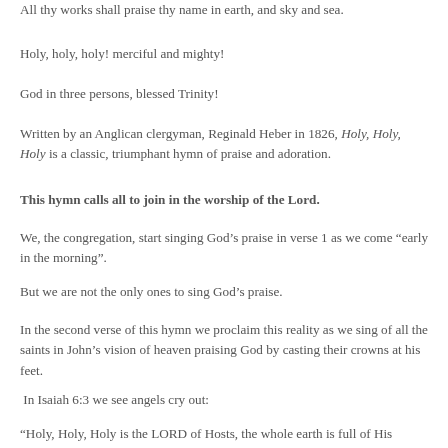All thy works shall praise thy name in earth, and sky and sea.
Holy, holy, holy! merciful and mighty!
God in three persons, blessed Trinity!
Written by an Anglican clergyman, Reginald Heber in 1826, Holy, Holy, Holy is a classic, triumphant hymn of praise and adoration.
This hymn calls all to join in the worship of the Lord.
We, the congregation, start singing God’s praise in verse 1 as we come “early in the morning”.
But we are not the only ones to sing God’s praise.
In the second verse of this hymn we proclaim this reality as we sing of all the saints in John’s vision of heaven praising God by casting their crowns at his feet.
In Isaiah 6:3 we see angels cry out:
“Holy, Holy, Holy is the LORD of Hosts, the whole earth is full of His